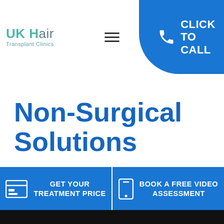[Figure (logo): UK Hair Transplant Clinics logo with teal/grey text]
[Figure (illustration): Hamburger menu icon (three horizontal lines)]
[Figure (illustration): Click To Call button - blue rounded rectangle with phone icon and text CLICK TO CALL]
Non-Surgical Solutions
Our hair loss tablets improve the appearance of hairs that are miniaturising due to an attack on the follicles by DHT. They make microscopic
[Figure (illustration): Scroll-to-top grey button with up chevron]
[Figure (illustration): GET YOUR TREATMENT PRICE button - blue with credit card icon]
[Figure (illustration): BOOK A FREE VIDEO ASSESSMENT button - blue with mobile phone icon]